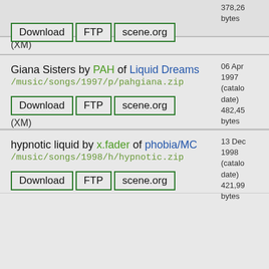378,26 bytes
Download | FTP | scene.org
(XM)
Giana Sisters by PAH of Liquid Dreams /music/songs/1997/p/pahgiana.zip
06 Apr 1997 (catalog date) 482,45 bytes
Download | FTP | scene.org
(XM)
hypnotic liquid by x.fader of phobia/MC /music/songs/1998/h/hypnotic.zip
13 Dec 1998 (catalog date) 421,99 bytes
Download | FTP | scene.org